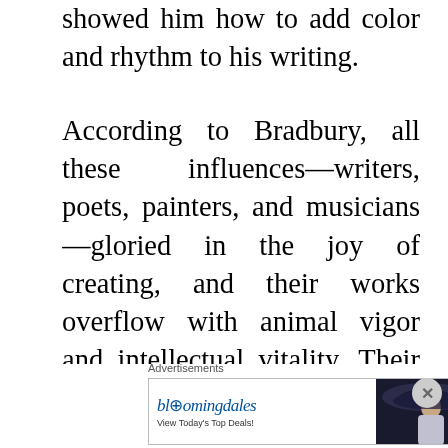showed him how to add color and rhythm to his writing.
According to Bradbury, all these influences—writers, poets, painters, and musicians—gloried in the joy of creating, and their works overflow with animal vigor and intellectual vitality. Their ardor and delight are contagious, and their honest response to the materials at hand calls forth a similar response in their readers, viewers, and listeners. This enchanting of the audience, similar to casting a magic spell, is what Bradbury...
Advertisements
[Figure (infographic): Bloomingdale's advertisement with logo, tagline 'View Today's Top Deals!', image of woman in wide-brim hat, and 'SHOP NOW >' button]